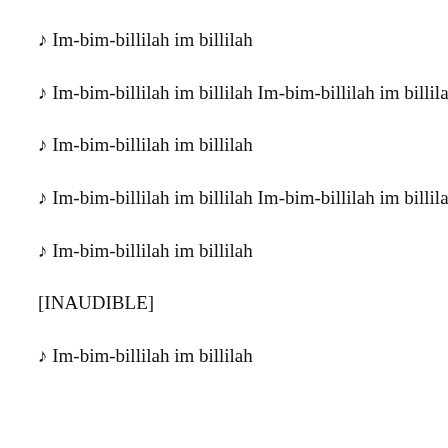♪ Im-bim-billilah im billilah
♪ Im-bim-billilah im billilah Im-bim-billilah im billilah
♪ Im-bim-billilah im billilah
♪ Im-bim-billilah im billilah Im-bim-billilah im billilah
♪ Im-bim-billilah im billilah
[INAUDIBLE]
♪ Im-bim-billilah im billilah